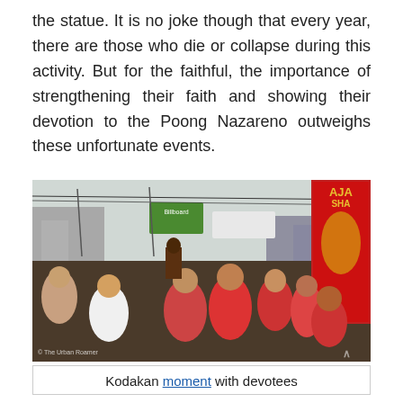the statue. It is no joke though that every year, there are those who die or collapse during this activity. But for the faithful, the importance of strengthening their faith and showing their devotion to the Poong Nazareno outweighs these unfortunate events.
[Figure (photo): A crowd of devotees in the street during the Poong Nazareno procession. People in red shirts are smiling at the camera, a large red banner with gold embroidery is visible on the right, and a religious statue can be seen in the background. A watermark reads '© The Urban Roamer'.]
Kodakan moment with devotees